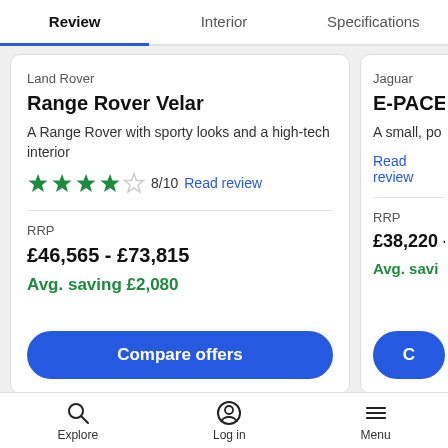Review | Interior | Specifications
Land Rover
Range Rover Velar
A Range Rover with sporty looks and a high-tech interior
★★★★☆ 8/10 Read review
RRP
£46,565 - £73,815
Avg. saving £2,080
Compare offers
Jaguar
E-PACE
A small, po...
Read review
RRP
£38,220 -
Avg. savi...
Explore | Log in | Menu